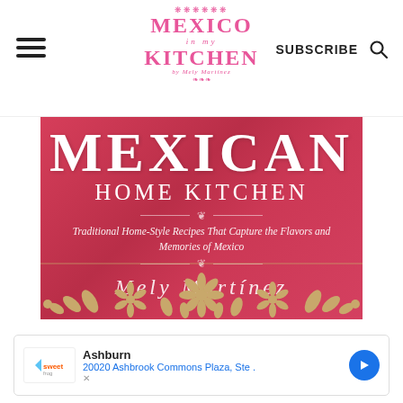Mexico in My Kitchen — SUBSCRIBE
[Figure (photo): Book cover of 'Mexican Home Kitchen' by Mely Martinez on a red background with gold floral decoration. Text reads: MEXICAN HOME KITCHEN — Traditional Home-Style Recipes That Capture the Flavors and Memories of Mexico — Mely Martínez]
Ashburn
20020 Ashbrook Commons Plaza, Ste .